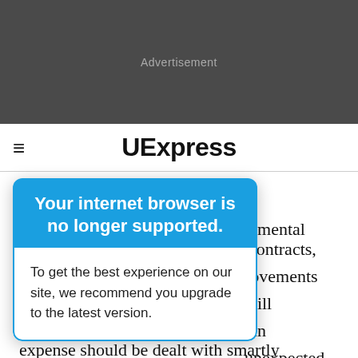[Figure (other): Dark gray advertisement banner with 'Advertisement' text in light gray]
≡  UExpress
bullies at arms length. Greater involvement in peace and environmental
[Figure (other): Browser support modal overlay with blue header saying 'Your internet browser is no longer supported.' and white body saying 'To get the best experience on our site, we recommend you upgrade to the latest version.']
Contracts, rovements will An unexpected expense should be dealt with smartly